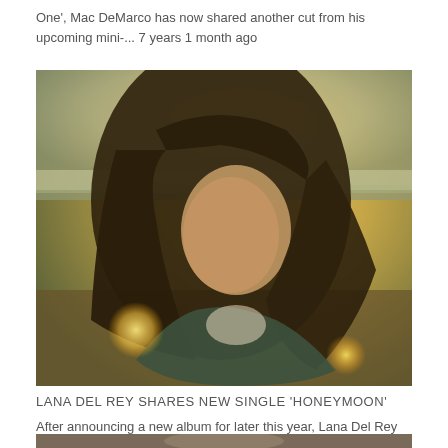One', Mac DeMarco has now shared another cut from his upcoming mini-... 7 years 1 month ago
[Figure (photo): Woman with long dark hair on a beach with warm golden light, looking toward camera]
LANA DEL REY SHARES NEW SINGLE 'HONEYMOON'
After announcing a new album for later this year, Lana Del Rey has now delivered the lead single from her forthcoming full-length. The new track '... 7 years 1 month ago
[Figure (photo): Partial photo visible at bottom of page]